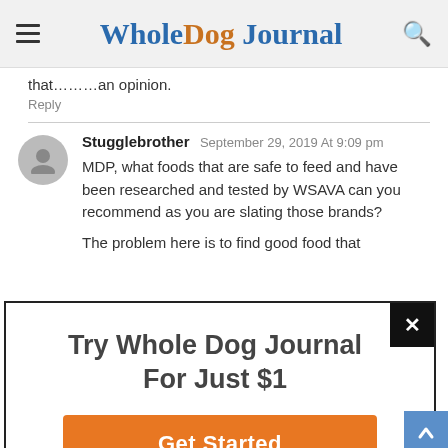Whole Dog Journal
that………an opinion.
Reply
Stugglebrother September 29, 2019 At 9:09 pm
MDP, what foods that are safe to feed and have been researched and tested by WSAVA can you recommend as you are slating those brands?

The problem here is to find good food that
[Figure (screenshot): Popup advertisement overlay: Try Whole Dog Journal For Just $1 with Get Started button and close (x) button]
Try Whole Dog Journal For Just $1
Get Started